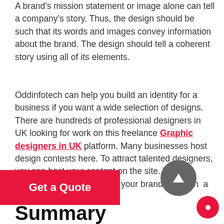A brand's mission statement or image alone can tell a company's story. Thus, the design should be such that its words and images convey information about the brand. The design should tell a coherent story using all of its elements.
Oddinfotech can help you build an identity for a business if you want a wide selection of designs. There are hundreds of professional designers in UK looking for work on this freelance Graphic designers in UK platform. Many businesses host design contests here. To attract talented designers, you can host your content on the site. We will provide you with graphics t your brand to you in a couple of weeks.
[Figure (other): Pink 'Get a Quote' button overlay at bottom left]
[Figure (other): Gray circular scroll-to-top arrow button]
[Figure (other): Pink circular chat/message button at bottom right]
Summary